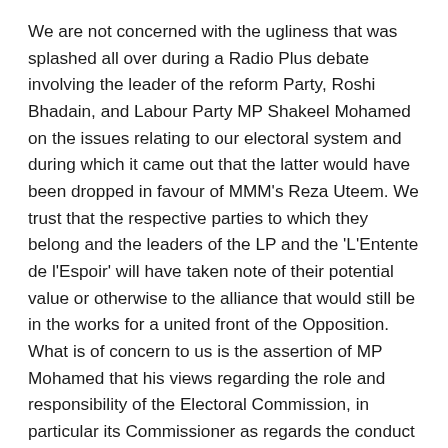We are not concerned with the ugliness that was splashed all over during a Radio Plus debate involving the leader of the reform Party, Roshi Bhadain, and Labour Party MP Shakeel Mohamed on the issues relating to our electoral system and during which it came out that the latter would have been dropped in favour of MMM's Reza Uteem. We trust that the respective parties to which they belong and the leaders of the LP and the 'L'Entente de l'Espoir' will have taken note of their potential value or otherwise to the alliance that would still be in the works for a united front of the Opposition. What is of concern to us is the assertion of MP Mohamed that his views regarding the role and responsibility of the Electoral Commission, in particular its Commissioner as regards the conduct of the last general elections, would be shared by the Labour Party. We need not go over the anomalies that have been mentioned in different electoral petitions, including that of no other than the leader of the LP, as well as other discrepancies revealed by the Electoral Commission itself and during the recount exercise at Constituency No. 19 conducted on